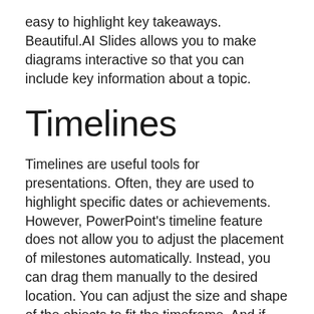easy to highlight key takeaways. Beautiful.AI Slides allows you to make diagrams interactive so that you can include key information about a topic.
Timelines
Timelines are useful tools for presentations. Often, they are used to highlight specific dates or achievements. However, PowerPoint’s timeline feature does not allow you to adjust the placement of milestones automatically. Instead, you can drag them manually to the desired location. You can adjust the size and shape of the objects to fit the timeframe. And if you are looking to make a timeline that is purely visual, you can